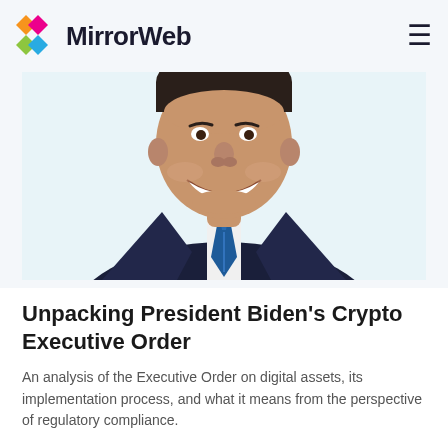MirrorWeb
[Figure (illustration): Vector illustration of President Biden from the shoulders up, smiling, wearing a dark suit and blue tie, cropped to show face and upper torso.]
Unpacking President Biden's Crypto Executive Order
An analysis of the Executive Order on digital assets, its implementation process, and what it means from the perspective of regulatory compliance.
Read Story